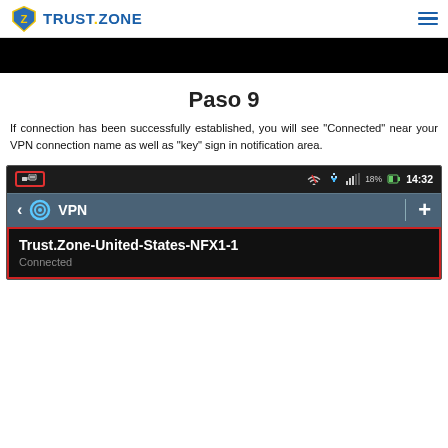TRUST.ZONE
[Figure (screenshot): Black banner/redacted area below the header navigation]
Paso 9
If connection has been successfully established, you will see "Connected" near your VPN connection name as well as "key" sign in notification area.
[Figure (screenshot): Android phone screenshot showing status bar with key icon, VPN screen with Trust.Zone-United-States-NFX1-1 connection showing status Connected]